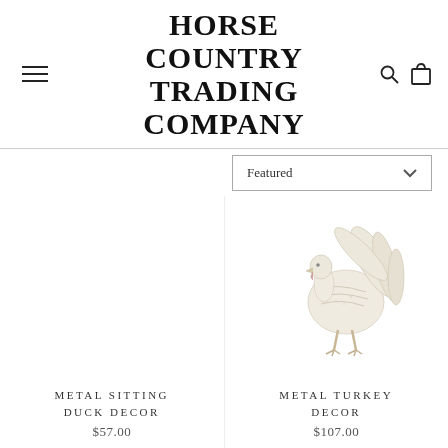HORSE COUNTRY TRADING COMPANY
Featured
METAL SITTING DUCK DECOR
$57.00
[Figure (photo): White metal turkey decor figurine on white background]
METAL TURKEY DECOR
$107.00